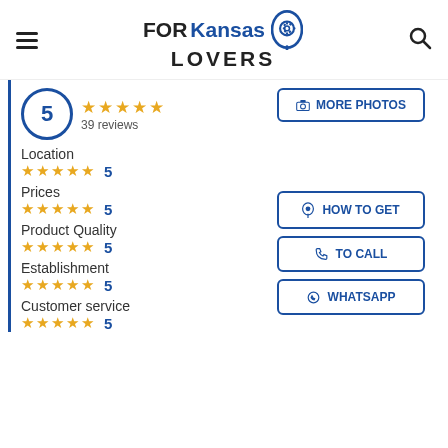FOR Kansas LOVERS
5 — 39 reviews
MORE PHOTOS
Location ★★★★★ 5
Prices ★★★★★ 5
Product Quality ★★★★★ 5
Establishment ★★★★★ 5
Customer service ★★★★★ 5
HOW TO GET
TO CALL
WHATSAPP